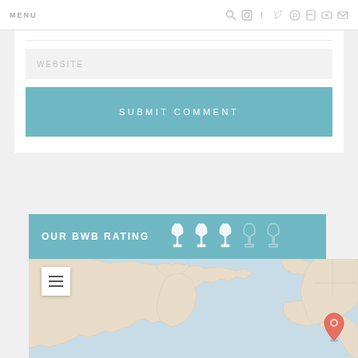MENU
WEBSITE
SUBMIT COMMENT
OUR BWB RATING
[Figure (map): World map with a location pin marker placed on the eastern United States. Map shows continents in beige/tan color on a blue ocean background. A hamburger menu icon appears in the top-left of the map. A red location pin is placed near the eastern US coast.]